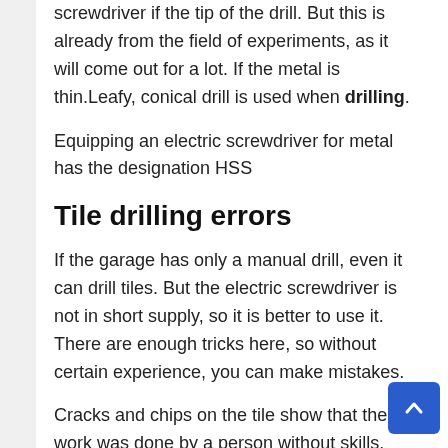screwdriver if the tip of the drill. But this is already from the field of experiments, as it will come out for a lot. If the metal is thin.Leafy, conical drill is used when drilling.
Equipping an electric screwdriver for metal has the designation HSS
Tile drilling errors
If the garage has only a manual drill, even it can drill tiles. But the electric screwdriver is not in short supply, so it is better to use it. There are enough tricks here, so without certain experience, you can make mistakes.
Cracks and chips on the tile show that the work was done by a person without skills. Drilling